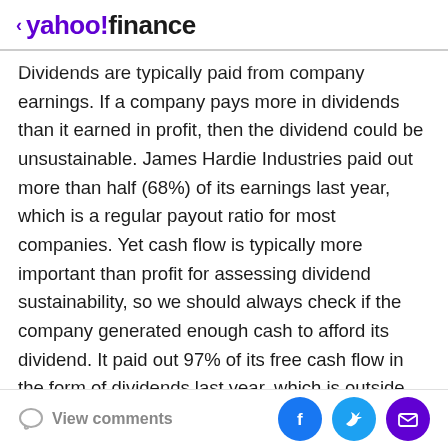< yahoo!finance
Dividends are typically paid from company earnings. If a company pays more in dividends than it earned in profit, then the dividend could be unsustainable. James Hardie Industries paid out more than half (68%) of its earnings last year, which is a regular payout ratio for most companies. Yet cash flow is typically more important than profit for assessing dividend sustainability, so we should always check if the company generated enough cash to afford its dividend. It paid out 97% of its free cash flow in the form of dividends last year, which is outside the comfort zone for most businesses. Cash flows are usually much more volatile than earnings, so this could be a temporary effect - but we'd generally
View comments